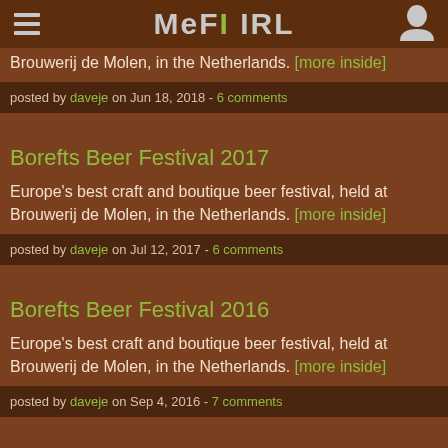MeFi IRL
Brouwerij de Molen, in the Netherlands. [more inside]
posted by daveje on Jun 18, 2018 - 6 comments
Borefts Beer Festival 2017
Europe's best craft and boutique beer festival, held at Brouwerij de Molen, in the Netherlands. [more inside]
posted by daveje on Jul 12, 2017 - 6 comments
Borefts Beer Festival 2016
Europe's best craft and boutique beer festival, held at Brouwerij de Molen, in the Netherlands. [more inside]
posted by daveje on Sep 4, 2016 - 7 comments